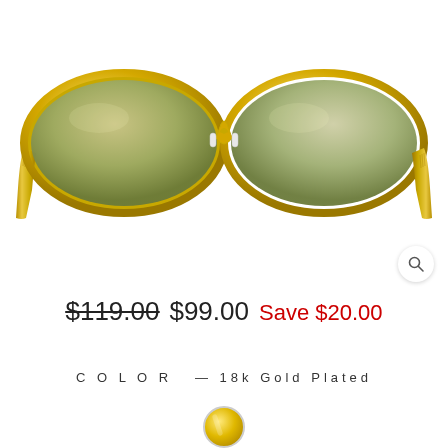[Figure (photo): Gold-framed oval sunglasses with gradient green-brown lenses and textured gold temples, viewed from the front on a white background]
$119.00  $99.00  Save $20.00
COLOR  — 18k Gold Plated
[Figure (other): 18k Gold Plated color swatch circle]